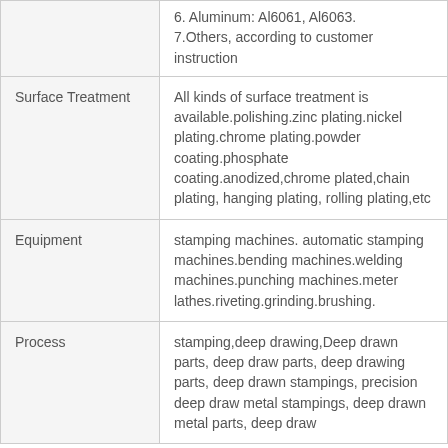| Category | Details |
| --- | --- |
|  | 6. Aluminum: Al6061, Al6063.
7.Others, according to customer instruction |
| Surface Treatment | All kinds of surface treatment is available.polishing.zinc plating.nickel plating.chrome plating.powder coating.phosphate coating.anodized,chrome plated,chain plating, hanging plating, rolling plating,etc |
| Equipment | stamping machines. automatic stamping machines.bending machines.welding machines.punching machines.meter lathes.riveting.grinding.brushing. |
| Process | stamping,deep drawing,Deep drawn parts, deep draw parts, deep drawing parts, deep drawn stampings, precision deep draw metal stampings, deep drawn metal parts, deep draw |